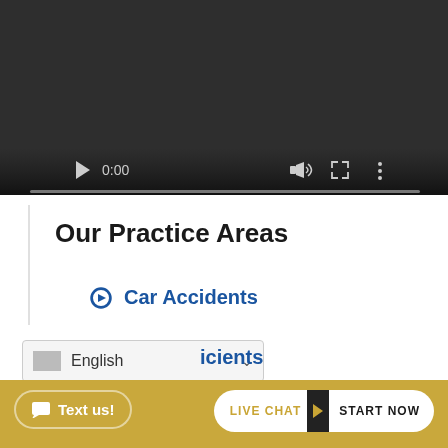[Figure (screenshot): Video player with dark background showing paused state at 0:00, with play button, time display, volume icon, fullscreen icon, and more options icon. Progress bar at bottom.]
Our Practice Areas
⊙ Car Accidents
icients
[Figure (screenshot): Language selector dropdown showing 'English' with a flag placeholder and chevron dropdown arrow]
[Figure (screenshot): Bottom action bar with 'Text us!' button on left and 'LIVE CHAT ▶ START NOW' button on right, on gold/yellow background]